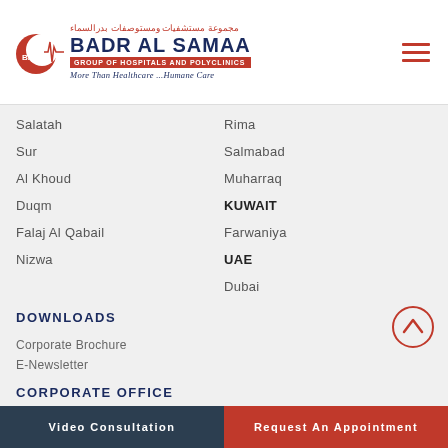[Figure (logo): Badr Al Samaa Group of Hospitals and Polyclinics logo with Arabic text, red crescent, ECG line, and tagline 'More Than Healthcare...Humane Care']
Salatah
Rima
Sur
Salmabad
Al Khoud
Muharraq
Duqm
KUWAIT
Falaj Al Qabail
Farwaniya
Nizwa
UAE
Dubai
DOWNLOADS
Corporate Brochure
E-Newsletter
CORPORATE OFFICE
Badr Al Samaa Hospital, P. O. Box 516, P. C. 320
Video Consultation | Request An Appointment